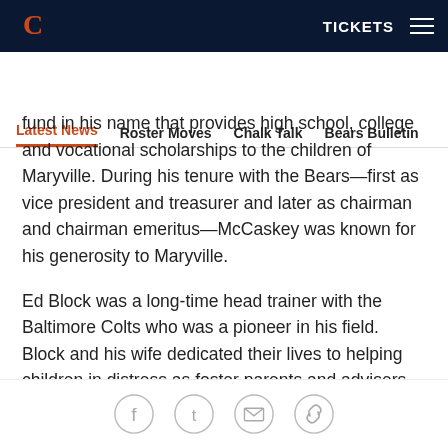Chicago Bears navigation bar with logo, TICKETS, and menu
Latest News | Roster Moves | Chalk Talk | Bears Bulletin
fund in his name that provides high school, college and vocational scholarships to the children of Maryville. During his tenure with the Bears—first as vice president and treasurer and later as chairman and chairman emeritus—McCaskey was known for his generosity to Maryville.
Ed Block was a long-time head trainer with the Baltimore Colts who was a pioneer in his field. Block and his wife dedicated their lives to helping children in distress as foster parents and advisers. There are presently 23 Courage Houses connected with NFL teams and this is the 43rd year the awards have been
Social share icons: Facebook, Twitter, Email, Link